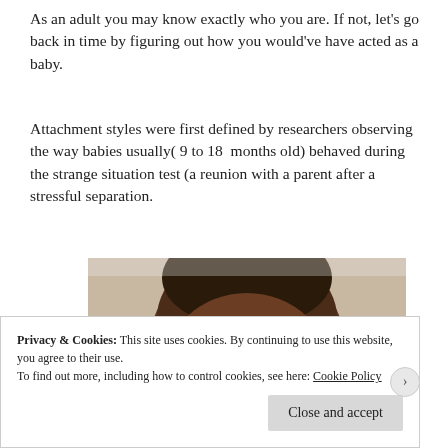As an adult you may know exactly who you are. If not, let's go back in time by figuring out how you would've have acted as a baby.
Attachment styles were first defined by researchers observing the way babies usually( 9 to 18  months old) behaved during the strange situation test (a reunion with a parent after a stressful separation.
[Figure (photo): Close-up photograph of a young Black baby or toddler with an upset or crying expression, dark background, face filling most of the frame.]
Privacy & Cookies: This site uses cookies. By continuing to use this website, you agree to their use.
To find out more, including how to control cookies, see here: Cookie Policy